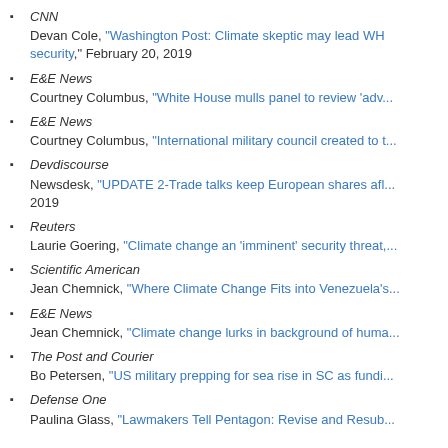CNN
Devan Cole, "Washington Post: Climate skeptic may lead WH security," February 20, 2019
E&E News
Courtney Columbus, "White House mulls panel to review 'adv...
E&E News
Courtney Columbus, "International military council created to t...
Devdiscourse
Newsdesk, "UPDATE 2-Trade talks keep European shares afl... 2019
Reuters
Laurie Goering, "Climate change an 'imminent' security threat,...
Scientific American
Jean Chemnick, "Where Climate Change Fits into Venezuela's...
E&E News
Jean Chemnick, "Climate change lurks in background of huma...
The Post and Courier
Bo Petersen, "US military prepping for sea rise in SC as fundi...
Defense One
Paulina Glass, "Lawmakers Tell Pentagon: Revise and Resub...